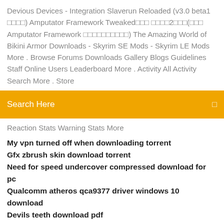Devious Devices - Integration Slaverun Reloaded (v3.0 beta1 🔲🔲🔲) Amputator Framework Tweaked🔲🔲🔲 🔲🔲🔲🔲2🔲🔲🔲(🔲🔲🔲 Amputator Framework 🔲🔲🔲🔲🔲🔲🔲🔲🔲🔲) The Amazing World of Bikini Armor Downloads - Skyrim SE Mods - Skyrim LE Mods More . Browse Forums Downloads Gallery Blogs Guidelines Staff Online Users Leaderboard More . Activity All Activity Search More . Store
Search Here
Reaction Stats Warning Stats More
My vpn turned off when downloading torrent
Gfx zbrush skin download torrent
Need for speed undercover compressed download for pc
Qualcomm atheros qca9377 driver windows 10 download
Devils teeth download pdf
Master vpn pc download
Eddie murphy delirious download torrent
Hp 2600 drivers download